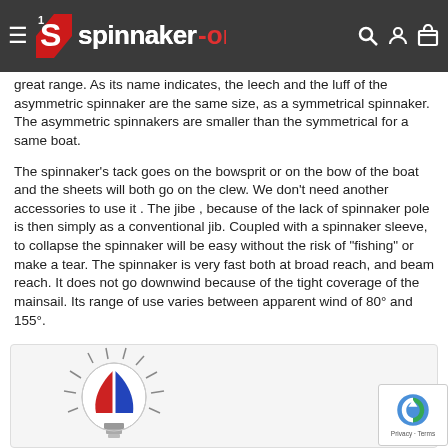Spinnaker-One navigation bar
great range. As its name indicates, the leech and the luff of the asymmetric spinnaker are the same size, as a symmetrical spinnaker. The asymmetric spinnakers are smaller than the symmetrical for a same boat.
The spinnaker's tack goes on the bowsprit or on the bow of the boat and the sheets will both go on the clew. We don't need another accessories to use it . The jibe , because of the lack of spinnaker pole is then simply as a conventional jib. Coupled with a spinnaker sleeve, to collapse the spinnaker will be easy without the risk of "fishing" or make a tear. The spinnaker is very fast both at broad reach, and beam reach. It does not go downwind because of the tight coverage of the mainsail. Its range of use varies between apparent wind of 80° and 155°.
Finally , if you need to pick only one spinnaker onboard , this would be this one !
[Figure (illustration): Lightbulb icon with spinnaker sail colors (red, blue, white) radiating lines around it, inside a light grey info box]